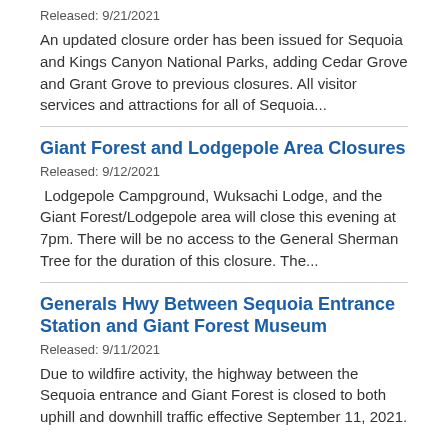Released: 9/21/2021
An updated closure order has been issued for Sequoia and Kings Canyon National Parks, adding Cedar Grove and Grant Grove to previous closures. All visitor services and attractions for all of Sequoia...
Giant Forest and Lodgepole Area Closures
Released: 9/12/2021
Lodgepole Campground, Wuksachi Lodge, and the Giant Forest/Lodgepole area will close this evening at 7pm. There will be no access to the General Sherman Tree for the duration of this closure. The...
Generals Hwy Between Sequoia Entrance Station and Giant Forest Museum
Released: 9/11/2021
Due to wildfire activity, the highway between the Sequoia entrance and Giant Forest is closed to both uphill and downhill traffic effective September 11, 2021.